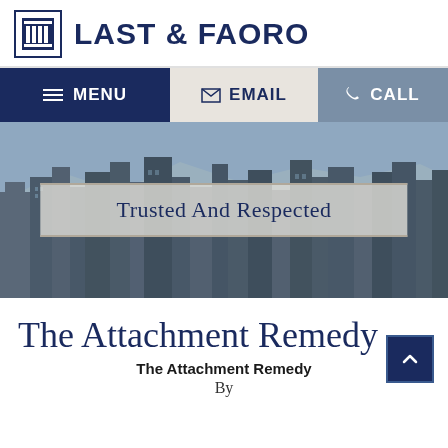[Figure (logo): Last & Faoro law firm logo with column icon and firm name in dark navy]
MENU  EMAIL  CALL
[Figure (photo): City skyline photo with semi-transparent banner overlay reading 'Trusted And Respected']
The Attachment Remedy
The Attachment Remedy
By